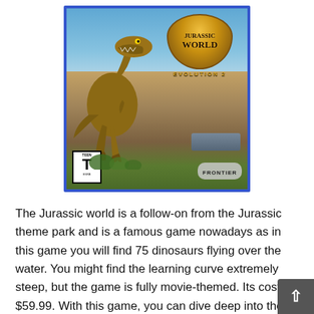[Figure (photo): Box art for Jurassic World Evolution 2 video game showing a T-Rex roaring in a desert landscape with the Jurassic World logo, TEEN ESRB rating, and Frontier developer logo. Blue border around the cover.]
The Jurassic world is a follow-on from the Jurassic theme park and is a famous game nowadays as in this game you will find 75 dinosaurs flying over the water. You might find the learning curve extremely steep, but the game is fully movie-themed. Its cost is $59.99. With this game, you can dive deep into the compelling